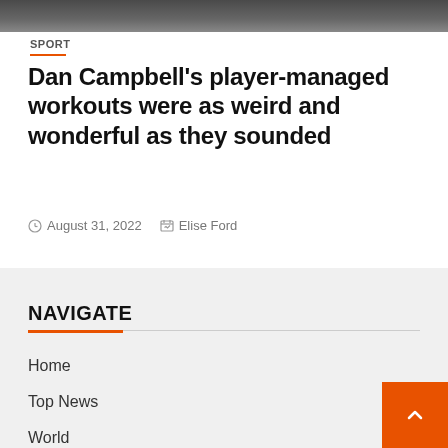[Figure (photo): Cropped top portion of a sports-related photo showing people]
SPORT
Dan Campbell's player-managed workouts were as weird and wonderful as they sounded
August 31, 2022   Elise Ford
NAVIGATE
Home
Top News
World
Economy
science